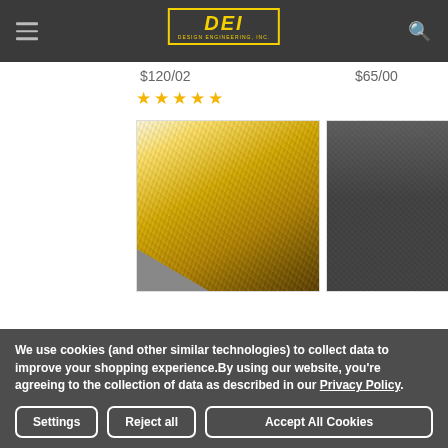DEI Design Engineering Inc. navigation header
$120/02
$65/00
[Figure (other): Five gold star rating icons]
[Figure (photo): Gold metallic heat shield foil material close-up product image]
[Figure (photo): Dark grey/black woven fabric thermal material close-up product image]
We use cookies (and other similar technologies) to collect data to improve your shopping experience.By using our website, you're agreeing to the collection of data as described in our Privacy Policy.
Settings | Reject all | Accept All Cookies